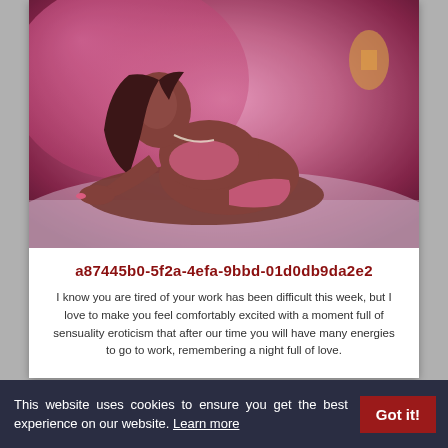[Figure (photo): A woman in pink lingerie posing on a bed in a pink-lit room, viewed from above and to the side.]
a87445b0-5f2a-4efa-9bbd-01d0db9da2e2
I know you are tired of your work has been difficult this week, but I love to make you feel comfortably excited with a moment full of sensuality eroticism that after our time you will have many energies to go to work, remembering a night full of love.
This website uses cookies to ensure you get the best experience on our website. Learn more